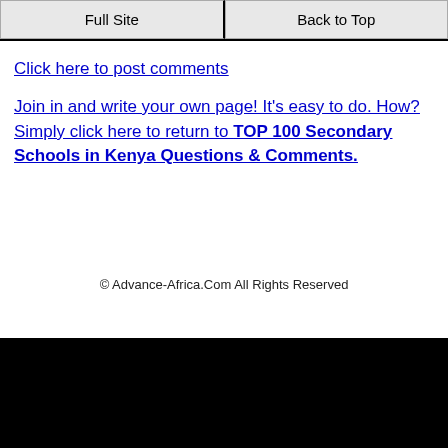Full Site | Back to Top
Click here to post comments
Join in and write your own page! It's easy to do. How? Simply click here to return to TOP 100 Secondary Schools in Kenya Questions & Comments.
© Advance-Africa.Com All Rights Reserved
Home
Contact Us
NGOs Grants
Scholarships